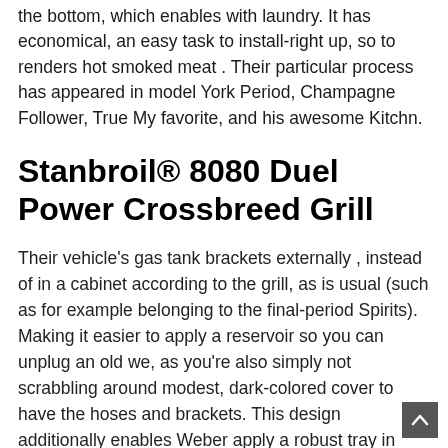the bottom, which enables with laundry. It has economical, an easy task to install-right up, so to renders hot smoked meat . Their particular process has appeared in model York Period, Champagne Follower, True My favorite, and his awesome Kitchn.
Stanbroil® 8080 Duel Power Crossbreed Grill
Their vehicle's gas tank brackets externally , instead of in a cabinet according to the grill, as is usual (such as for example belonging to the final-period Spirits). Making it easier to apply a reservoir so you can unplug an old we, as you're also simply not scrabbling around modest, dark-colored cover to have the hoses and brackets. This design additionally enables Weber apply a robust tray in cooker—a informative post handy location to put pans, sacks regarding the wood potato chips, a little chilly, also issues may require